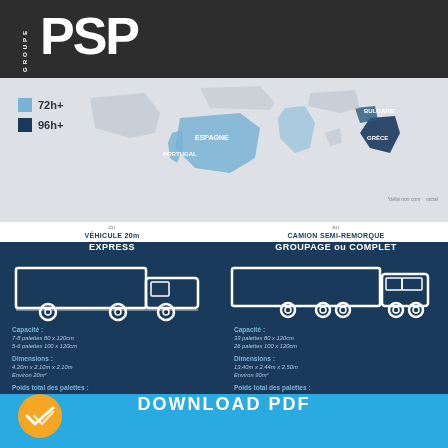[Figure (logo): GROUPE PSP logo in white on dark gray background]
[Figure (map): Map of Europe showing delivery time zones: light blue for 72h+, dark blue for 96h+, with country labels including PORTUGAL, ESPAGNE, BULGARIE, GRECE visible]
72h+
96h+
*délai non com... racial
VÉHICULE 20m EXPRESS
CAMION SEMI-REMORQUE GROUPAGE ou COMPLET
[Figure (illustration): White outline illustration of a delivery truck (20m vehicle)]
[Figure (illustration): White outline illustration of a semi-trailer truck]
Capacité :
7-8 palettes 80 x 120cm
5-6 palettes 100 x 120cm

Dimensions :
4.20m x 2.10m x 2.10m
Environ 20m²

Poids total des palettes :
1T max - 300 kg/pal max
Capacité :
33 palettes 80 x 120cm
26 palettes 100 x 120cm

Dimensions :
13.40m x 2.44m x 2.50m
Environ 90m²

Poids total des palettes :
25T max
DOWNLOAD PDF